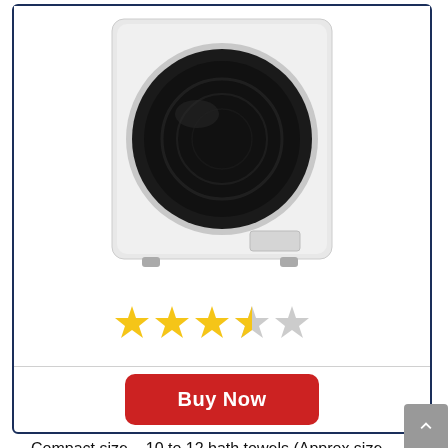[Figure (photo): Front-loading washing machine, white body with black circular door, small rectangular panel at bottom right, standing on four feet]
[Figure (infographic): Star rating: 3.5 out of 5 stars — four yellow stars (last one half-filled) and one grey star]
Buy Now
Compact size – 10 to 12 bath towels (Approx size of Dishwasher)
Power – Regular 110 Volts electricity